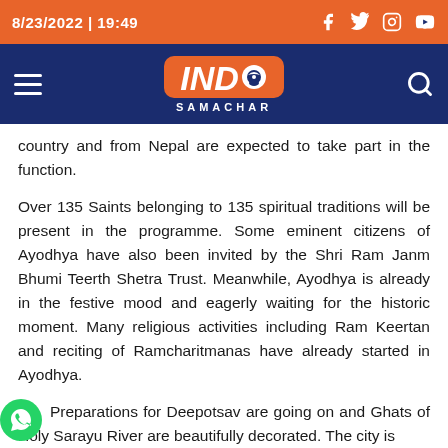8/23/2022 | 19:49
[Figure (logo): IND Samachar logo — orange rounded box with IND text and India map icon, SAMACHAR text below, on dark navy navigation bar]
country and from Nepal are expected to take part in the function.
Over 135 Saints belonging to 135 spiritual traditions will be present in the programme. Some eminent citizens of Ayodhya have also been invited by the Shri Ram Janm Bhumi Teerth Shetra Trust. Meanwhile, Ayodhya is already in the festive mood and eagerly waiting for the historic moment. Many religious activities including Ram Keertan and reciting of Ramcharitmanas have already started in Ayodhya.
Preparations for Deepotsav are going on and Ghats of Holy Sarayu River are beautifully decorated. The city is